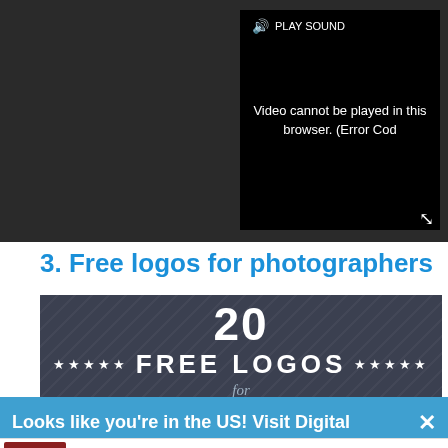[Figure (screenshot): Video player showing error message: 'Video cannot be played in this browser. (Error Cod' with Play Sound button, close button, and expand button on dark background]
3. Free logos for photographers
[Figure (illustration): Banner image: '20 FREE LOGOS for PHOTOGRAPHERS' on dark slate background with star decorations]
[Figure (illustration): Partial view of photographer logo samples: VALENTINA and Heather text]
Looks like you're in the US! Visit Digital
Dickies® | Official Site | Workwear & Apparel
for work pants, work shirts, overalls, and coveralls.
www.dickies.com